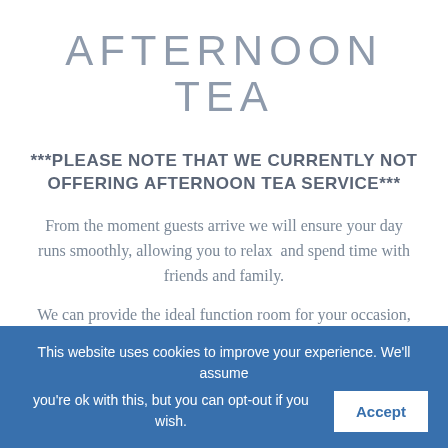AFTERNOON TEA
***PLEASE NOTE THAT WE CURRENTLY NOT OFFERING AFTERNOON TEA SERVICE***
From the moment guests arrive we will ensure your day runs smoothly, allowing you to relax  and spend time with friends and family.
We can provide the ideal function room for your occasion, whether it's a family...
This website uses cookies to improve your experience. We'll assume you're ok with this, but you can opt-out if you wish.  Accept